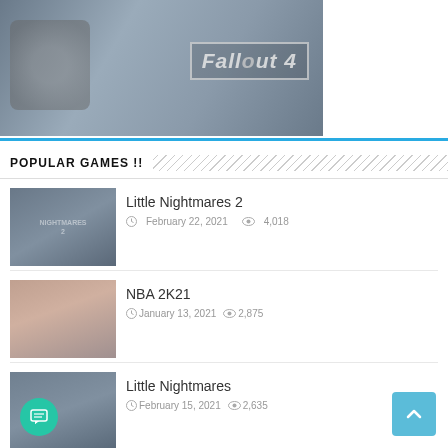[Figure (screenshot): Fallout 4 game cover image with metallic robot/armor in grey tones and Fallout 4 logo text]
POPULAR GAMES !!
[Figure (screenshot): Little Nightmares 2 game thumbnail image]
Little Nightmares 2
February 22, 2021  4,018
[Figure (screenshot): NBA 2K21 game thumbnail image]
NBA 2K21
January 13, 2021  2,875
[Figure (screenshot): Little Nightmares game thumbnail image]
Little Nightmares
February 15, 2021  2,635